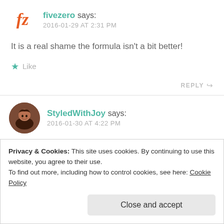fivezero says: 2016-01-29 AT 2:31 PM
It is a real shame the formula isn’t a bit better!
★ Like
REPLY ↩
StyledWithJoy says: 2016-01-30 AT 4:22 PM
Privacy & Cookies: This site uses cookies. By continuing to use this website, you agree to their use.
To find out more, including how to control cookies, see here: Cookie Policy
Close and accept